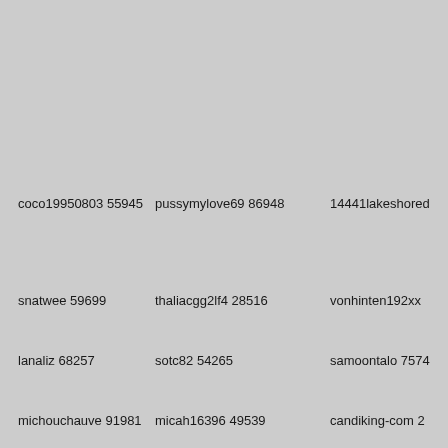coco19950803 55945
pussymylove69 86948
14441lakeshored
snatwee 59699
thaliacgg2lf4 28516
vonhinten192xx
lanaliz 68257
sotc82 54265
samoontalo 7574
michouchauve 91981
micah16396 49539
candiking-com 2